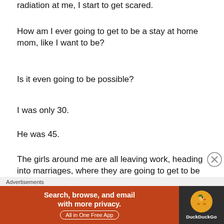radiation at me, I start to get scared.
How am I ever going to get to be a stay at home mom, like I want to be?
Is it even going to be possible?
I was only 30.
He was 45.
The girls around me are all leaving work, heading into marriages, where they are going to get to be mothers.
I'm going to be a girl who has to pay for mortgages
Advertisements
[Figure (other): DuckDuckGo advertisement banner: orange background on left with text 'Search, browse, and email with more privacy. All in One Free App', dark background on right with DuckDuckGo duck logo]